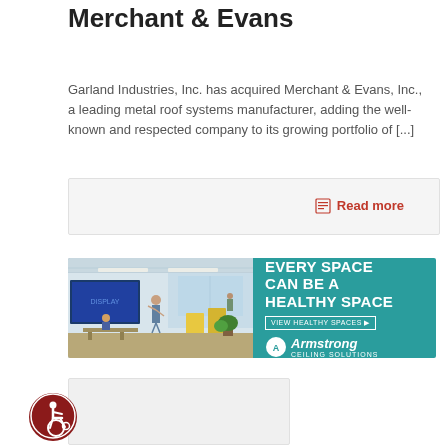Merchant & Evans
Garland Industries, Inc. has acquired Merchant & Evans, Inc., a leading metal roof systems manufacturer, adding the well-known and respected company to its growing portfolio of [...]
Read more
[Figure (infographic): Armstrong Ceiling Solutions advertisement banner: left half shows a classroom scene with people and a large display screen, yellow booth dividers, and plants; right half has a teal/dark green background with bold white text reading 'EVERY SPACE CAN BE A HEALTHY SPACE', a 'VIEW HEALTHY SPACES' CTA button, and the Armstrong Ceiling Solutions logo.]
[Figure (other): Gray placeholder card at the bottom of the page]
[Figure (illustration): Wheelchair accessibility icon — circular dark red badge with a white wheelchair symbol]